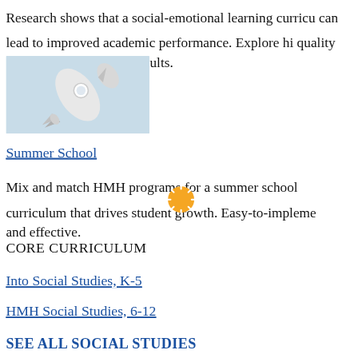Research shows that a social-emotional learning curriculum can lead to improved academic performance. Explore high-quality SEL programs that get results.
[Figure (photo): A white toy/3D rocket on a light blue background, angled diagonally pointing upper-right.]
Summer School
[Figure (illustration): An orange/yellow circular loading spinner icon overlapping the text.]
Mix and match HMH programs for a summer school curriculum that drives student growth. Easy-to-implement and effective.
CORE CURRICULUM
Into Social Studies, K-5
HMH Social Studies, 6-12
SEE ALL SOCIAL STUDIES